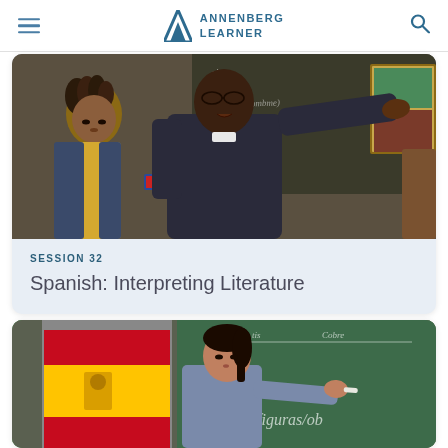Annenberg Learner
[Figure (photo): A teacher in a dark shirt pointing at a chalkboard in a classroom, with a female student in yellow top seated nearby. Chalkboard shows Spanish handwriting.]
SESSION 32
Spanish: Interpreting Literature
[Figure (photo): A female teacher with dark hair writing on a green chalkboard. A Spanish flag is visible on the left. The board shows Spanish words including 'figuras/ob...']